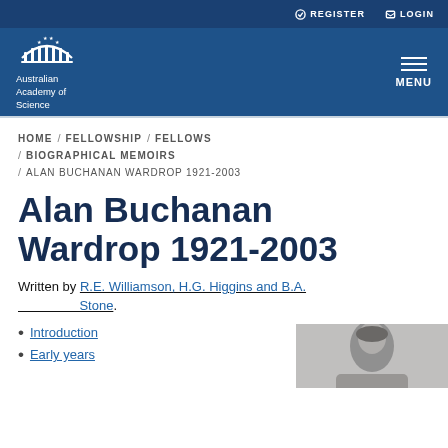REGISTER  LOGIN
[Figure (logo): Australian Academy of Science logo — arch with stars above text]
HOME / FELLOWSHIP / FELLOWS / BIOGRAPHICAL MEMOIRS / ALAN BUCHANAN WARDROP 1921-2003
Alan Buchanan Wardrop 1921-2003
Written by R.E. Williamson, H.G. Higgins and B.A. Stone.
Introduction
Early years
[Figure (photo): Black and white portrait photograph of Alan Buchanan Wardrop]